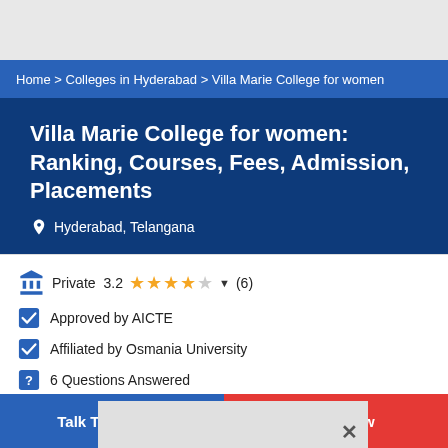Home > Colleges in Hyderabad > Villa Marie College for women
Villa Marie College for women: Ranking, Courses, Fees, Admission, Placements
Hyderabad, Telangana
Private   3.2   (6)
Approved by AICTE
Affiliated by Osmania University
6 Questions Answered
Advertisement
Write a Review
Talk To Experts
Apply Now